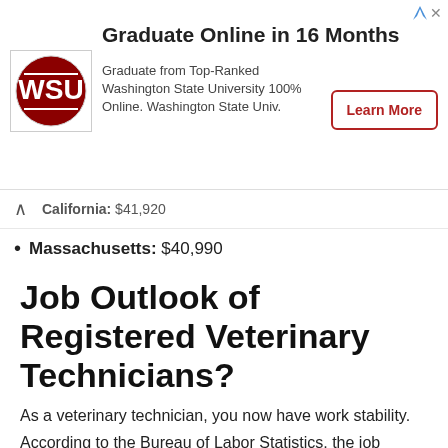[Figure (illustration): Advertisement banner for Washington State University online graduate program with WSU logo, headline 'Graduate Online in 16 Months', body text about graduating from Top-Ranked Washington State University 100% Online, and a 'Learn More' button.]
California: $41,920 (partially visible/crossed out)
Massachusetts: $40,990
Job Outlook of Registered Veterinary Technicians?
As a veterinary technician, you now have work stability. According to the Bureau of Labor Statistics, the job outlook for vet techs in 2018 is 19%. The job is expected to grow at a much faster rate than the average job, as evidenced by the projection of an additional 21,100 jobs for registered veterinary